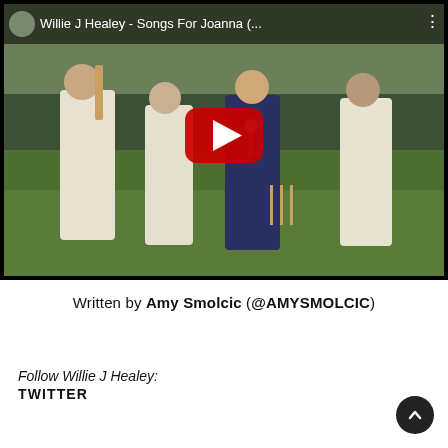[Figure (screenshot): YouTube video embed showing Willie J Healey - Songs For Joanna (... with a play button overlay. Scene shows four people standing on a cricket lawn outdoors.]
Written by Amy Smolcic (@AMYSMOLCIC)
Follow Willie J Healey:
TWITTER